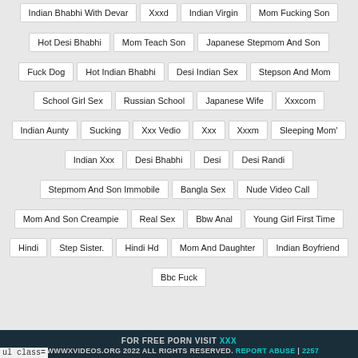Indian Bhabhi With Devar
Xxxd
Indian Virgin
Mom Fucking Son
Hot Desi Bhabhi
Mom Teach Son
Japanese Stepmom And Son
Fuck Dog
Hot Indian Bhabhi
Desi Indian Sex
Stepson And Mom
School Girl Sex
Russian School
Japanese Wife
Xxxcom
Indian Aunty
Sucking
Xxx Vedio
Xxx
Xxxm
Sleeping Mom'
Indian Xxx
Desi Bhabhi
Desi
Desi Randi
Stepmom And Son Immobile
Bangla Sex
Nude Video Call
Mom And Son Creampie
Real Sex
Bbw Anal
Young Girl First Time
Hindi
Step Sister.
Hindi Hd
Mom And Daughter
Indian Boyfriend
Bbc Fuck
FOR FREE PORN VISIT XXX © WWWXVIDEOS.ORG 2022 ALL RIGHTS RESERVED. REPORT ABUSE | 2257
ul class=